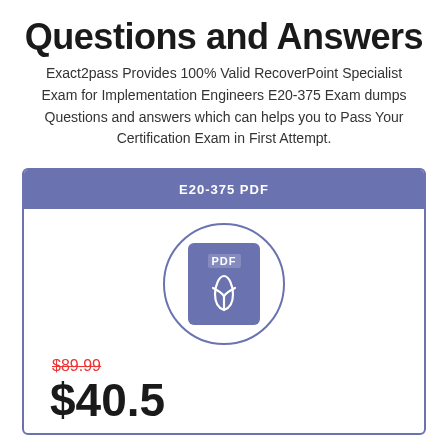Questions and Answers
Exact2pass Provides 100% Valid RecoverPoint Specialist Exam for Implementation Engineers E20-375 Exam dumps Questions and answers which can helps you to Pass Your Certification Exam in First Attempt.
E20-375 PDF
[Figure (illustration): PDF file icon inside a circle — purple rounded rectangle with PDF label and Acrobat-style pen-nib symbol in white]
$89.99 (strikethrough) $40.5